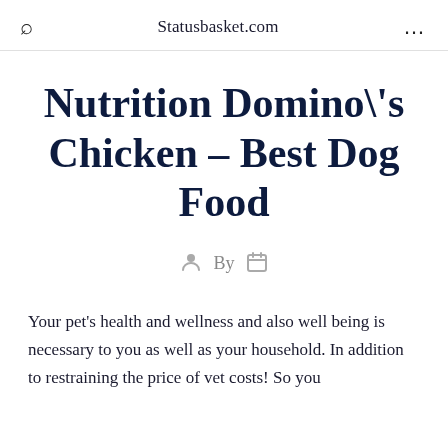Statusbasket.com
Nutrition Domino\'s Chicken – Best Dog Food
By
Your pet's health and wellness and also well being is necessary to you as well as your household. In addition to restraining the price of vet costs! So you